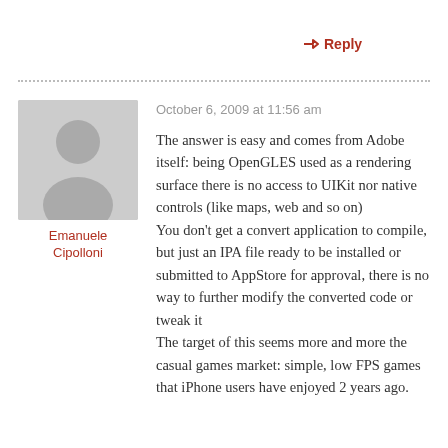↳ Reply
Emanuele Cipolloni
October 6, 2009 at 11:56 am
The answer is easy and comes from Adobe itself: being OpenGLES used as a rendering surface there is no access to UIKit nor native controls (like maps, web and so on) You don't get a convert application to compile, but just an IPA file ready to be installed or submitted to AppStore for approval, there is no way to further modify the converted code or tweak it The target of this seems more and more the casual games market: simple, low FPS games that iPhone users have enjoyed 2 years ago.